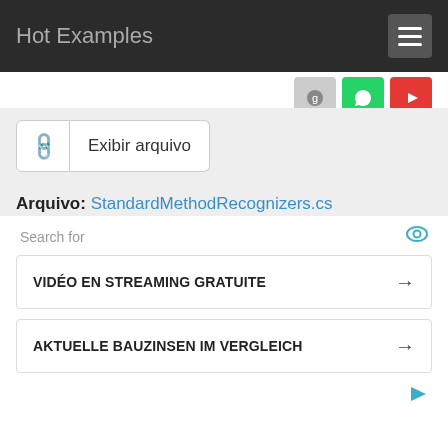Hot Examples
Arquivo: StandardMethodRecognizers.cs
Projeto: Arnaud-Nauwynck/test-dotnet-snippets
Search for
VIDÉO EN STREAMING GRATUITE →
AKTUELLE BAUZINSEN IM VERGLEICH →